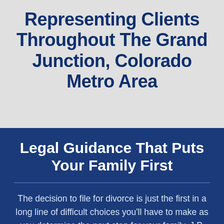Representing Clients Throughout The Grand Junction, Colorado Metro Area
Legal Guidance That Puts Your Family First
The decision to file for divorce is just the first in a long line of difficult choices you'll have to make as you determine the next step for your family. J.P. Martin Law Group can help ensure